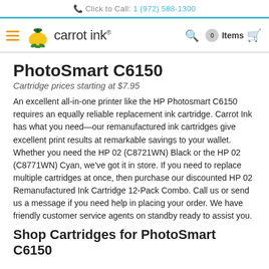Click to Call: 1 (972) 588-1300
[Figure (logo): Carrot Ink logo with hamburger menu, search icon, 0 items cart]
PhotoSmart C6150
Cartridge prices starting at $7.95
An excellent all-in-one printer like the HP Photosmart C6150 requires an equally reliable replacement ink cartridge. Carrot Ink has what you need—our remanufactured ink cartridges give excellent print results at remarkable savings to your wallet. Whether you need the HP 02 (C8721WN) Black or the HP 02 (C8771WN) Cyan, we've got it in store. If you need to replace multiple cartridges at once, then purchase our discounted HP 02 Remanufactured Ink Cartridge 12-Pack Combo. Call us or send us a message if you need help in placing your order. We have friendly customer service agents on standby ready to assist you.
Shop Cartridges for PhotoSmart C6150